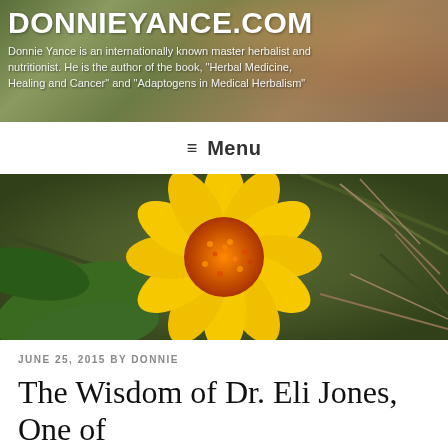DONNIEYANCE.COM
Donnie Yance is an internationally known master herbalist and nutritionist. He is the author of the book, "Herbal Medicine, Healing and Cancer" and "Adaptogens in Medical Herbalism"
≡ Menu
[Figure (photo): Close-up photo of a yellow daisy-like flower with an orange center, surrounded by green leaves and dry twigs in the background.]
JUNE 25, 2015 BY DONNIE
The Wisdom of Dr. Eli Jones, One of the Greatest Physicians of All